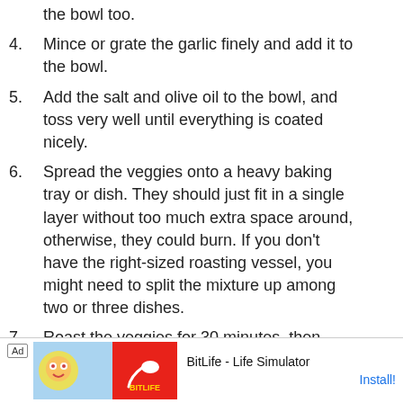the bowl too.
4. Mince or grate the garlic finely and add it to the bowl.
5. Add the salt and olive oil to the bowl, and toss very well until everything is coated nicely.
6. Spread the veggies onto a heavy baking tray or dish. They should just fit in a single layer without too much extra space around, otherwise, they could burn. If you don’t have the right-sized roasting vessel, you might need to split the mixture up among two or three dishes.
7. Roast the veggies for 30 minutes, then stir/toss and continue to roast for 1.5 hours or until the zucchini and peppers are soft enough to be mashed easily with a fork.
8. Mash the zucchini and peppers with a fork or a…
[Figure (advertisement): Ad banner for BitLife - Life Simulator app with install button]